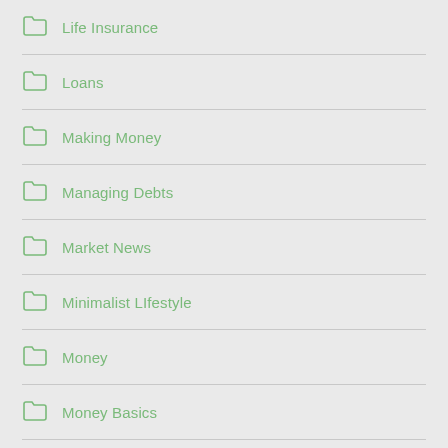Life Insurance
Loans
Making Money
Managing Debts
Market News
Minimalist LIfestyle
Money
Money Basics